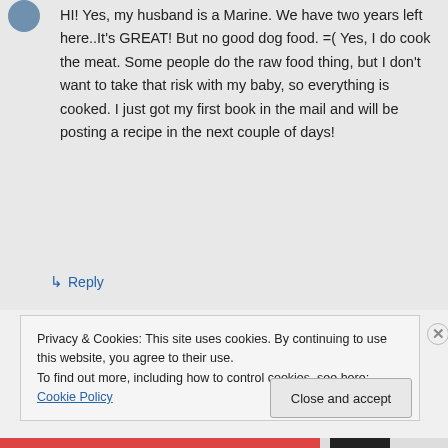HI! Yes, my husband is a Marine. We have two years left here..It's GREAT! But no good dog food. =( Yes, I do cook the meat. Some people do the raw food thing, but I don't want to take that risk with my baby, so everything is cooked. I just got my first book in the mail and will be posting a recipe in the next couple of days!
↳ Reply
Privacy & Cookies: This site uses cookies. By continuing to use this website, you agree to their use.
To find out more, including how to control cookies, see here: Cookie Policy
Close and accept